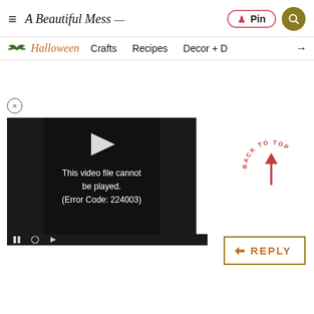A Beautiful Mess — Pin | Search
Halloween | Crafts | Recipes | Decor + D →
[Figure (screenshot): Video player showing error: This video file cannot be played. (Error Code: 224003)]
[Figure (infographic): Back to Top circular arrow button]
REPLY